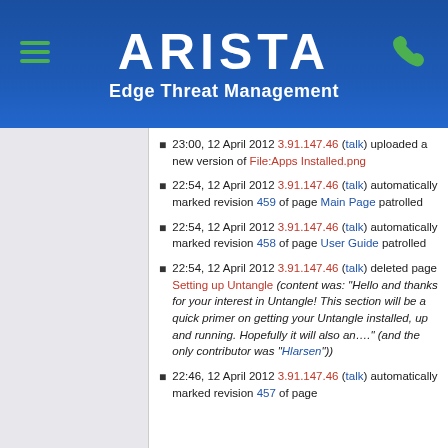ARISTA Edge Threat Management
23:00, 12 April 2012 3.91.147.46 (talk) uploaded a new version of File:Apps Installed.png
22:54, 12 April 2012 3.91.147.46 (talk) automatically marked revision 459 of page Main Page patrolled
22:54, 12 April 2012 3.91.147.46 (talk) automatically marked revision 458 of page User Guide patrolled
22:54, 12 April 2012 3.91.147.46 (talk) deleted page Setting up Untangle (content was: "Hello and thanks for your interest in Untangle! This section will be a quick primer on getting your Untangle installed, up and running. Hopefully it will also an...." (and the only contributor was "Hlarsen"))
22:46, 12 April 2012 3.91.147.46 (talk) automatically marked revision 457 of page